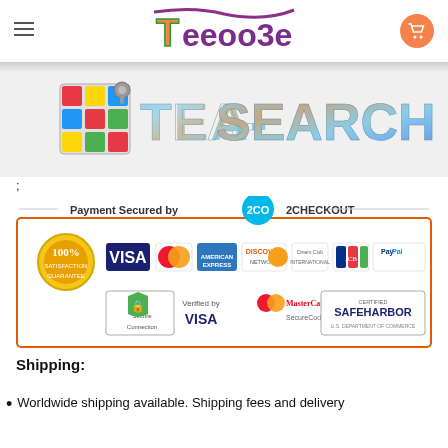Teeooze
[Figure (logo): TEA-SEARCH logo with Rubik's cube and decorative holographic letters]
;
[Figure (infographic): Payment Secured by 2Checkout badge with payment logos: VISA, MasterCard, American Express, Discover, Diners Club, JCB, PayPal, SSL Secure Connection, Verified by VISA, MasterCard SecureCode, SafeHarbor U.S. Department of Commerce]
Shipping:
Worldwide shipping available. Shipping fees and delivery